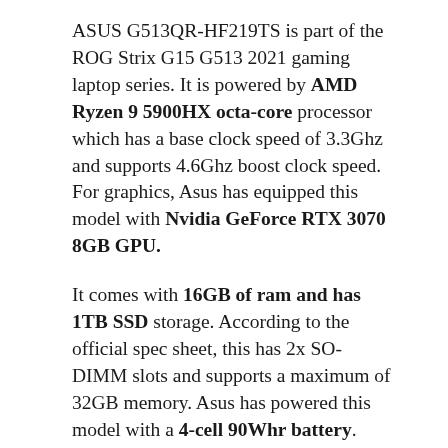ASUS G513QR-HF219TS is part of the ROG Strix G15 G513 2021 gaming laptop series. It is powered by AMD Ryzen 9 5900HX octa-core processor which has a base clock speed of 3.3Ghz and supports 4.6Ghz boost clock speed. For graphics, Asus has equipped this model with Nvidia GeForce RTX 3070 8GB GPU.
It comes with 16GB of ram and has 1TB SSD storage. According to the official spec sheet, this has 2x SO-DIMM slots and supports a maximum of 32GB memory. Asus has powered this model with a 4-cell 90Whr battery.
ROG Strix G15 G513QR-HF219TS features a 15.6 inch Full HD screen with a 300hz refresh rate